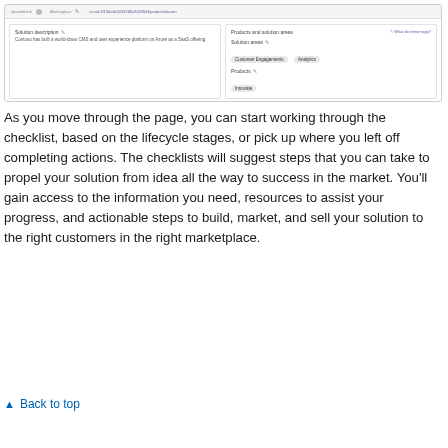[Figure (screenshot): Screenshot of a software interface showing a solution listing page with fields: Solution description, Products and solution areas, Solution areas (with tags: Customer Engagements, Analytics), and Products (with tag: Innovate). There is a top browser bar with navigation elements and a URL.]
As you move through the page, you can start working through the checklist, based on the lifecycle stages, or pick up where you left off completing actions. The checklists will suggest steps that you can take to propel your solution from idea all the way to success in the market. You'll gain access to the information you need, resources to assist your progress, and actionable steps to build, market, and sell your solution to the right customers in the right marketplace.
▲  Back to top